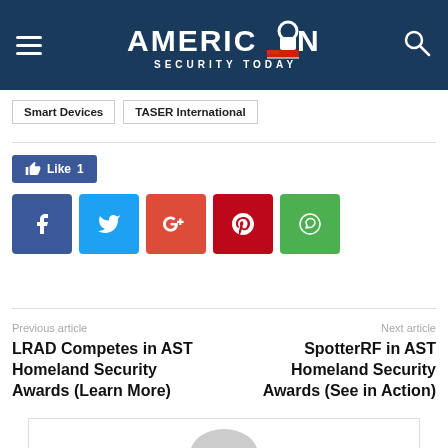American Security Today
Smart Devices
TASER International
[Figure (infographic): Social media share buttons: Facebook Like (1), Facebook, Twitter, Google+, Pinterest, WhatsApp]
Previous article
LRAD Competes in AST Homeland Security Awards (Learn More)
Next article
SpotterRF in AST Homeland Security Awards (See in Action)
[Figure (photo): Author avatar placeholder image at bottom of page]